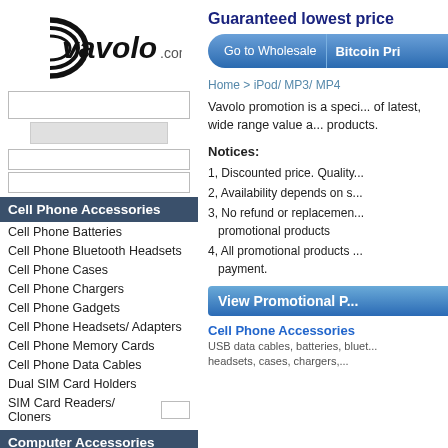[Figure (logo): Vavolo.com logo with circular swoosh graphic]
Guaranteed lowest price
Go to Wholesale | Bitcoin Pri...
Home > iPod/ MP3/ MP4
Vavolo promotion is a special of latest, wide range value a... products.
Cell Phone Accessories
Cell Phone Batteries
Cell Phone Bluetooth Headsets
Cell Phone Cases
Cell Phone Chargers
Cell Phone Gadgets
Cell Phone Headsets/ Adapters
Cell Phone Memory Cards
Cell Phone Data Cables
Dual SIM Card Holders
SIM Card Readers/ Cloners
Computer Accessories
Cables, Adapters, Converters
Notices:
1, Discounted price. Quality...
2, Availability depends on s...
3, No refund or replacement... promotional products
4, All promotional products ... payment.
View Promotional P...
Cell Phone Accessories
USB data cables, batteries, bluetooth headsets, cases, chargers,...